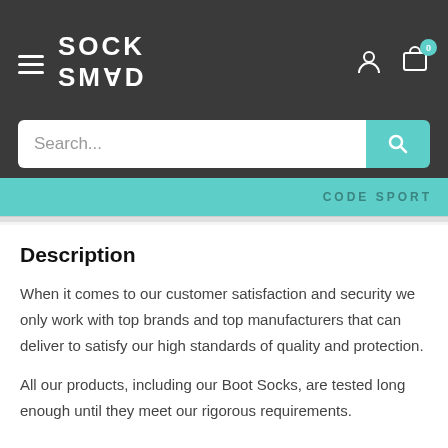SOCK SMAD
[Figure (screenshot): Search bar with teal search button and 'CODE SPORT' text on teal banner]
Description
When it comes to our customer satisfaction and security we only work with top brands and top manufacturers that can deliver to satisfy our high standards of quality and protection.
All our products, including our Boot Socks, are tested long enough until they meet our rigorous requirements.